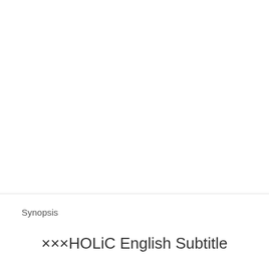Synopsis
×××HOLiC English Subtitle